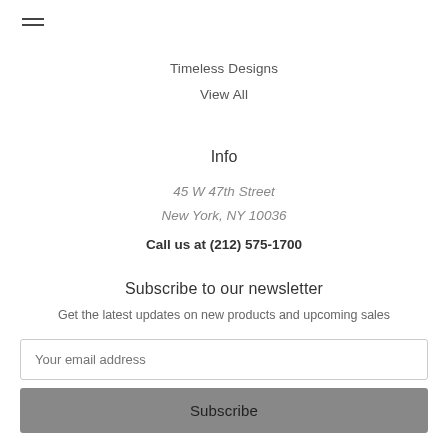[Figure (other): Hamburger menu icon with three horizontal lines]
Timeless Designs
View All
Info
45 W 47th Street
New York, NY 10036
Call us at (212) 575-1700
Subscribe to our newsletter
Get the latest updates on new products and upcoming sales
Your email address
Subscribe